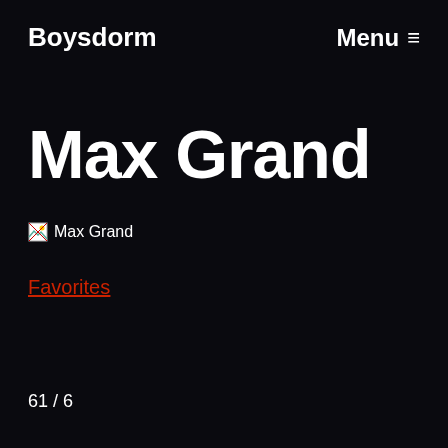Boysdorm
Menu ≡
Max Grand
[Figure (other): Broken image placeholder with alt text 'Max Grand']
Favorites
61 / 6